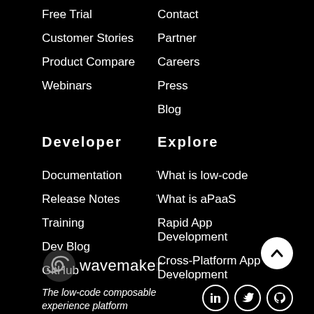Free Trial
Customer Stories
Product Compare
Webinars
Contact
Partner
Careers
Press
Blog
Developer
Explore
Documentation
Release Notes
Training
Dev Blog
GitHub
What is low-code
What is aPaaS
Rapid App Development
Cross-Platform App Development
[Figure (logo): Wavemaker logo with spiral icon and text 'wavemaker']
The low-code composable experience platform
[Figure (infographic): Social media icons: LinkedIn, Twitter, GitHub, and a scroll-to-top chevron button]